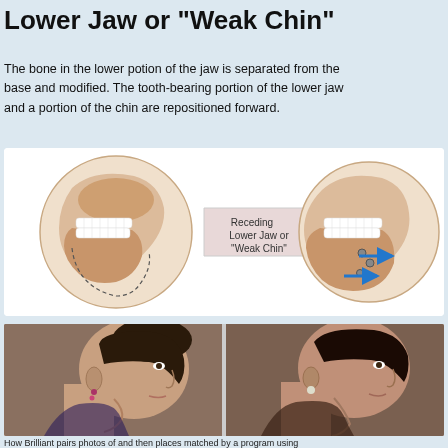Lower Jaw or "Weak Chin"
The bone in the lower potion of the jaw is separated from the base and modified. The tooth-bearing portion of the lower jaw and a portion of the chin are repositioned forward.
[Figure (illustration): Medical illustration showing two views of a jaw cross-section. Left: side profile skull showing receding lower jaw with dashed outline around chin. Center arrow label reads 'Receding Lower Jaw or "Weak Chin"'. Right: side profile after surgical correction with screws/plates and two blue arrows indicating forward repositioning of jaw and chin.]
[Figure (photo): Two side-profile photographs of a woman's face/neck showing before and after jaw surgery. Left photo shows a receding chin profile; right photo shows improved jaw/chin projection after surgery.]
How Brilliant pairs photos of and then places matched by a program using